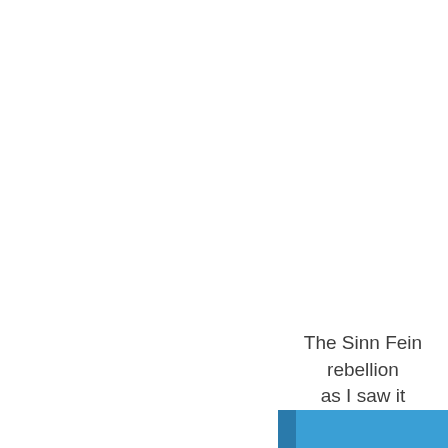[Figure (illustration): Two blue book covers/spines shown from the side, stacked vertically with a gap between them. The top book occupies the upper portion of the page and the bottom book occupies the lower portion. Each book has a darker blue spine strip on the left and a lighter blue cover body.]
The Sinn Fein rebellion as I saw it